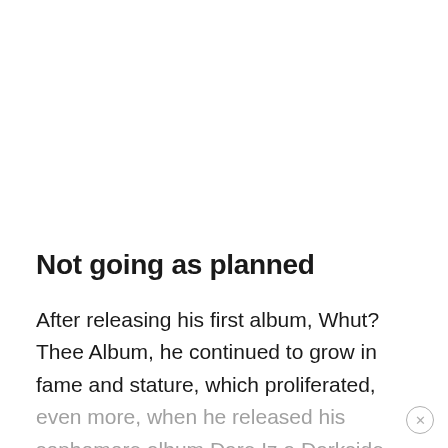Not going as planned
After releasing his first album, Whut? Thee Album, he continued to grow in fame and stature, which proliferated, even more, when he released his sophomore album Dare Iz a Darkside.